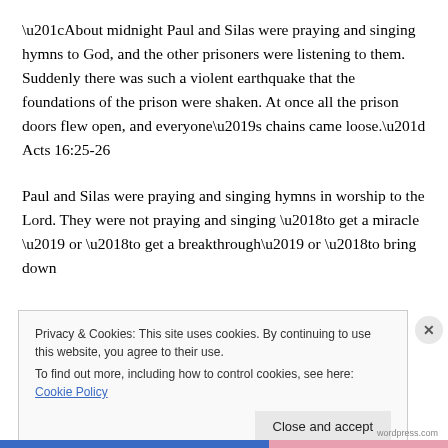“About midnight Paul and Silas were praying and singing hymns to God, and the other prisoners were listening to them. Suddenly there was such a violent earthquake that the foundations of the prison were shaken. At once all the prison doors flew open, and everyone’s chains came loose.” Acts 16:25-26
Paul and Silas were praying and singing hymns in worship to the Lord. They were not praying and singing ‘to get a miracle ’ or ‘to get a breakthrough’ or ‘to bring down
Privacy & Cookies: This site uses cookies. By continuing to use this website, you agree to their use.
To find out more, including how to control cookies, see here: Cookie Policy
Close and accept